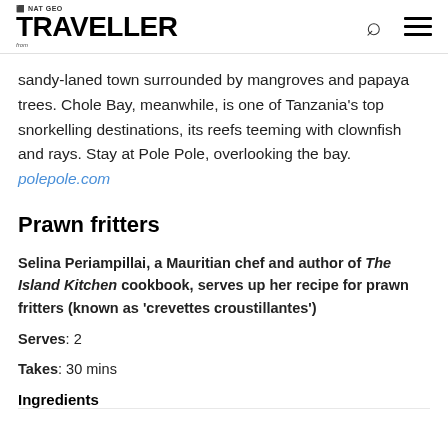National Geographic TRAVELLER
sandy-laned town surrounded by mangroves and papaya trees. Chole Bay, meanwhile, is one of Tanzania's top snorkelling destinations, its reefs teeming with clownfish and rays. Stay at Pole Pole, overlooking the bay. polepole.com
Prawn fritters
Selina Periampillai, a Mauritian chef and author of The Island Kitchen cookbook, serves up her recipe for prawn fritters (known as 'crevettes croustillantes')
Serves: 2
Takes: 30 mins
Ingredients